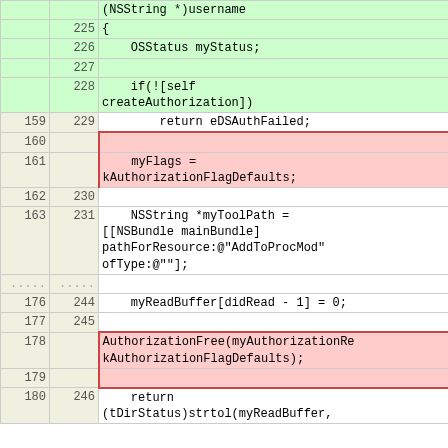| old | new | code |
| --- | --- | --- |
|  |  | (NSString *)username |
|  | 225 | { |
|  | 226 |     OSStatus myStatus; |
|  | 227 |  |
|  | 228 |     if(![self createAuthorization]) |
| 159 | 229 |         return eDSAuthFailed; |
| 160 |  |  |
| 161 |  |     myFlags =
kAuthorizationFlagDefaults; |
| 162 | 230 |  |
| 163 | 231 |     NSString *myToolPath =
[[NSBundle mainBundle]
pathForResource:@"AddToProcMod"
ofType:@""]; |
| ... | ... |  |
| 176 | 244 |     myReadBuffer[didRead - 1] = 0; |
| 177 | 245 |  |
| 178 |  | AuthorizationFree(myAuthorizationRe kAuthorizationFlagDefaults); |
| 179 |  |  |
| 180 | 246 |     return
(tDirStatus)strtol(myReadBuffer, |